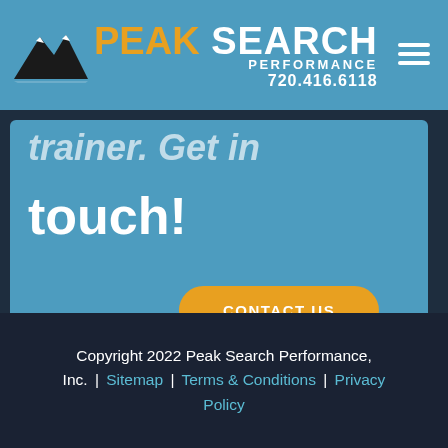[Figure (logo): Peak Search Performance logo with mountain icon, orange PEAK text, white SEARCH PERFORMANCE text, phone number 720.416.6118]
trainer. Get in touch!
CONTACT US
Copyright 2022 Peak Search Performance, Inc. | Sitemap | Terms & Conditions | Privacy Policy